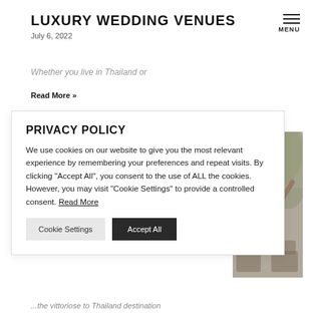LUXURY WEDDING VENUES
July 6, 2022
Whether you live in Thailand or
Read More »
PRIVACY POLICY
We use cookies on our website to give you the most relevant experience by remembering your preferences and repeat visits. By clicking "Accept All", you consent to the use of ALL the cookies. However, you may visit "Cookie Settings" to provide a controlled consent. Read More
Cookie Settings   Accept All
[Figure (photo): People at an outdoor venue, one person appears to be reaching or gesturing, seated in chairs with greenery in background]
...the vittoriose to Thailand destination